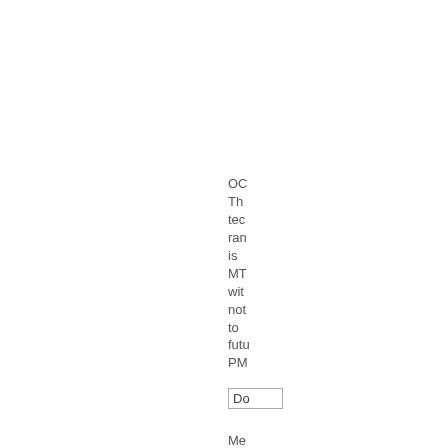OC The tec ran is MT wit not to futu PM
Do
Me of